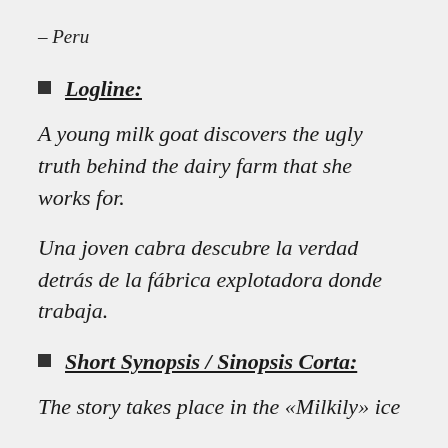– Peru
Logline:
A young milk goat discovers the ugly truth behind the dairy farm that she works for.
Una joven cabra descubre la verdad detrás de la fábrica explotadora donde trabaja.
Short Synopsis / Sinopsis Corta:
The story takes place in the «Milkily» ice